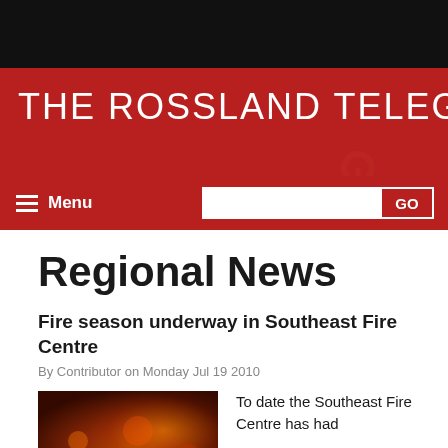THE ROSSLAND TELEGRAPH
Regional News
Fire season underway in Southeast Fire Centre
By Contributor on Monday Jul 19 2010
[Figure (photo): Close-up photo of fire/burning embers with orange-red tones]
To date the Southeast Fire Centre has had